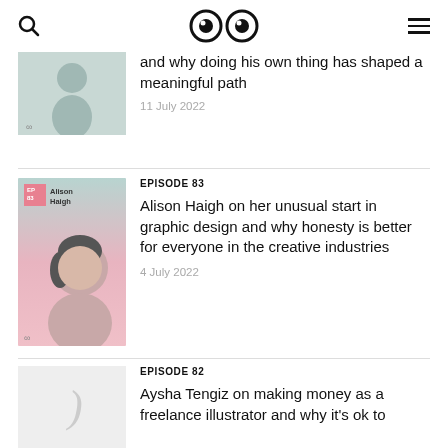Search | Logo (eyes icon) | Menu
and why doing his own thing has shaped a meaningful path
11 July 2022
EPISODE 83
Alison Haigh on her unusual start in graphic design and why honesty is better for everyone in the creative industries
4 July 2022
EPISODE 82
Aysha Tengiz on making money as a freelance illustrator and why it's ok to